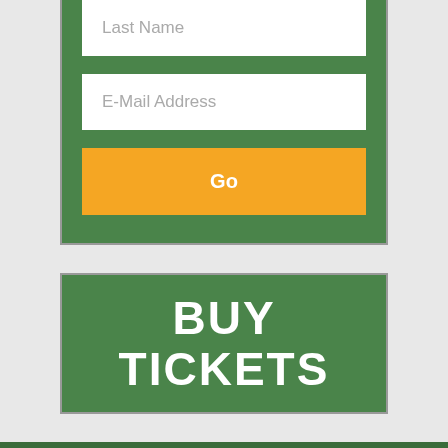Last Name
E-Mail Address
Go
BUY TICKETS
OUR COVID PROTOCOLS
WORK WITH US
JOIN MAILING LIST
SCRIPT SUBMISSION